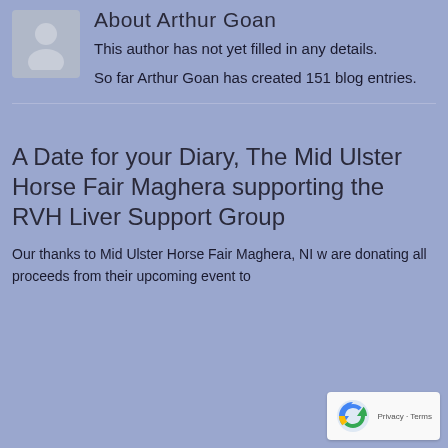About Arthur Goan
[Figure (illustration): Grey avatar/silhouette placeholder image for author profile]
This author has not yet filled in any details.
So far Arthur Goan has created 151 blog entries.
A Date for your Diary, The Mid Ulster Horse Fair Maghera supporting the RVH Liver Support Group
Our thanks to Mid Ulster Horse Fair Maghera, NI w are donating all proceeds from their upcoming event to